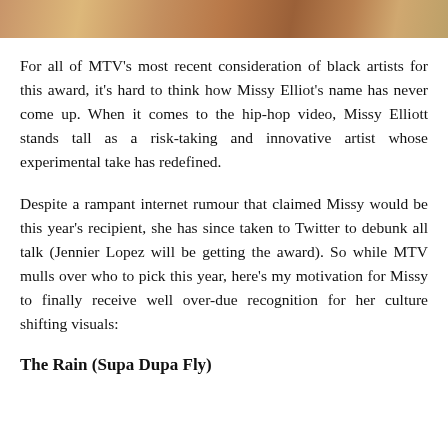[Figure (photo): Partial image strip at the top of the page showing what appears to be people, cropped.]
For all of MTV's most recent consideration of black artists for this award, it's hard to think how Missy Elliot's name has never come up. When it comes to the hip-hop video, Missy Elliott stands tall as a risk-taking and innovative artist whose experimental take has redefined.
Despite a rampant internet rumour that claimed Missy would be this year's recipient, she has since taken to Twitter to debunk all talk (Jennier Lopez will be getting the award). So while MTV mulls over who to pick this year, here's my motivation for Missy to finally receive well over-due recognition for her culture shifting visuals:
The Rain (Supa Dupa Fly)
Partial line of text cut off at the bottom of the page.